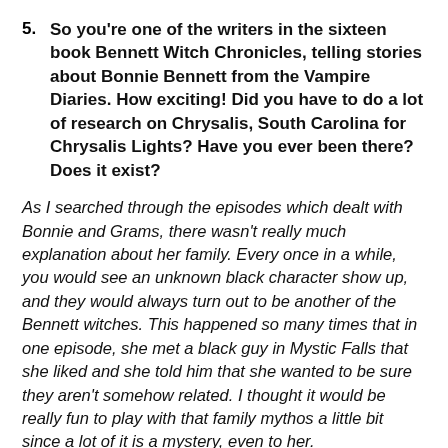So you're one of the writers in the sixteen book Bennett Witch Chronicles, telling stories about Bonnie Bennett from the Vampire Diaries. How exciting! Did you have to do a lot of research on Chrysalis, South Carolina for Chrysalis Lights? Have you ever been there? Does it exist?
As I searched through the episodes which dealt with Bonnie and Grams, there wasn't really much explanation about her family. Every once in a while, you would see an unknown black character show up, and they would always turn out to be another of the Bennett witches. This happened so many times that in one episode, she met a black guy in Mystic Falls that she liked and she told him that she wanted to be sure they aren't somehow related. I thought it would be really fun to play with that family mythos a little bit since a lot of it is a mystery, even to her.